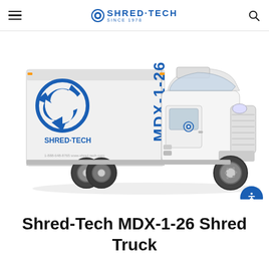Shred-Tech (logo) — navigation header with hamburger menu and search icon
[Figure (photo): White Shred-Tech MDX-1-26 shred truck with blue branding on the box body, shown at a 3/4 front-right angle. The truck is a Freightliner-style cab-over with a large enclosed white box trailer labeled SHRED-TECH and MDX-1-26 in blue text, along with the Shred-Tech recycling arrow logo.]
Shred-Tech MDX-1-26 Shred Truck